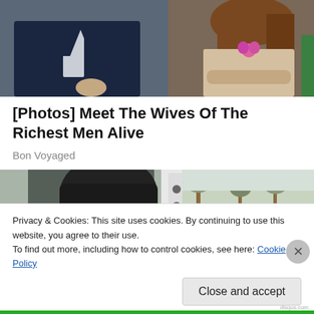[Figure (photo): A man in a dark navy suit sitting next to a woman with long brown hair wearing a beige/gold patterned top with a pink floral accessory, partially cropped.]
[Photos] Meet The Wives Of The Richest Men Alive
Bon Voyaged
[Figure (photo): A partial view of what appears to be a vehicle interior or machinery, with a dark seat visible and some outdoor scenery in the background.]
Privacy & Cookies: This site uses cookies. By continuing to use this website, you agree to their use.
To find out more, including how to control cookies, see here: Cookie Policy